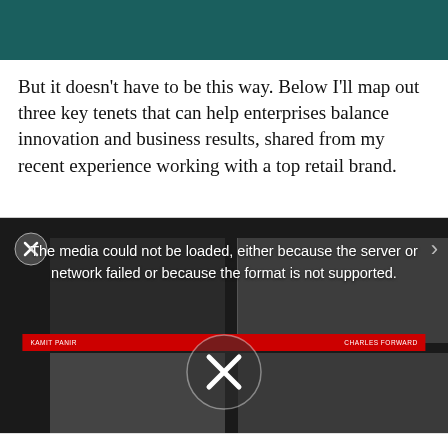But it doesn't have to be this way. Below I'll map out three key tenets that can help enterprises balance innovation and business results, shared from my recent experience working with a top retail brand.
[Figure (screenshot): Embedded video player showing error message 'The media could not be loaded, either because the server or network failed or because the format is not supported.' with video conference participants visible in the background and a large X overlay in the center.]